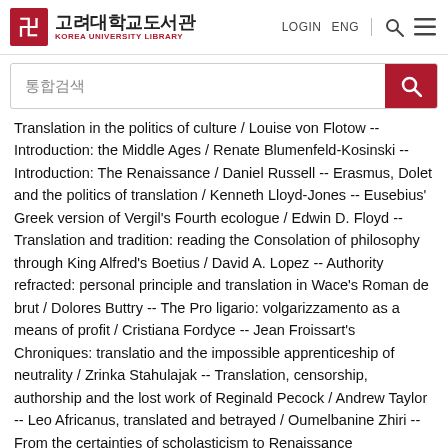고려대학교도서관 KOREA UNIVERSITY LIBRARY | LOGIN ENG
통합검색
Translation in the politics of culture / Louise von Flotow -- Introduction: the Middle Ages / Renate Blumenfeld-Kosinski -- Introduction: The Renaissance / Daniel Russell -- Erasmus, Dolet and the politics of translation / Kenneth Lloyd-Jones -- Eusebius' Greek version of Vergil's Fourth ecologue / Edwin D. Floyd -- Translation and tradition: reading the Consolation of philosophy through King Alfred's Boetius / David A. Lopez -- Authority refracted: personal principle and translation in Wace's Roman de brut / Dolores Buttry -- The Pro ligario: volgarizzamento as a means of profit / Cristiana Fordyce -- Jean Froissart's Chroniques: translatio and the impossible apprenticeship of neutrality / Zrinka Stahulajak -- Translation, censorship, authorship and the lost work of Reginald Pecock / Andrew Taylor -- Leo Africanus, translated and betrayed / Oumelbanine Zhiri -- From the certainties of scholasticism to Renaissance